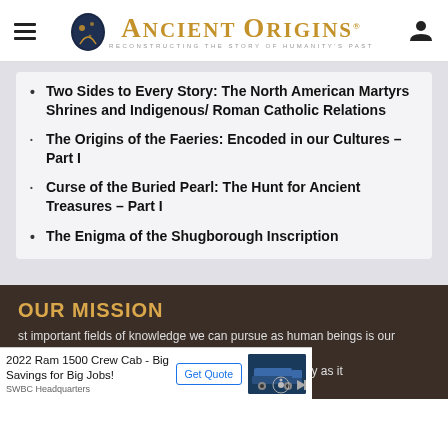Ancient Origins — Reconstructing the story of humanity's past
Two Sides to Every Story: The North American Martyrs Shrines and Indigenous/ Roman Catholic Relations
The Origins of the Faeries: Encoded in our Cultures – Part I
Curse of the Buried Pearl: The Hunt for Ancient Treasures – Part I
The Enigma of the Shugborough Inscription
OUR MISSION
st important fields of knowledge we can pursue as human beings is our beginnings. And while some people may seem content with the story as it
[Figure (screenshot): Advertisement overlay: 2022 Ram 1500 Crew Cab - Big Savings for Big Jobs! SWBC Headquarters. Get Quote button. Truck image.]